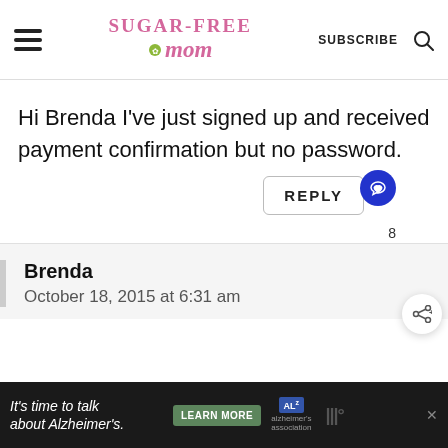Sugar-Free Mom — SUBSCRIBE
Hi Brenda I've just signed up and received payment confirmation but no password.
REPLY
8
Brenda
October 18, 2015 at 6:31 am
It's time to talk about Alzheimer's.  LEARN MORE